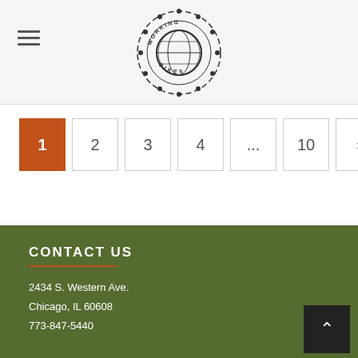Working Bikes logo and navigation header
1 2 3 4 ... 10 >
CONTACT US
2434 S. Western Ave.
Chicago, IL 60608
773-847-5440